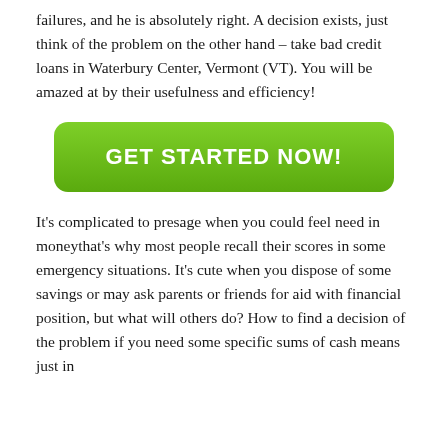your strength and preparedness to get the better of failures, and he is absolutely right. A decision exists, just think of the problem on the other hand – take bad credit loans in Waterbury Center, Vermont (VT). You will be amazed at by their usefulness and efficiency!
[Figure (other): Green rounded button with white bold text reading GET STARTED NOW!]
It's complicated to presage when you could feel need in moneythat's why most people recall their scores in some emergency situations. It's cute when you dispose of some savings or may ask parents or friends for aid with financial position, but what will others do? How to find a decision of the problem if you need some specific sums of cash means just in